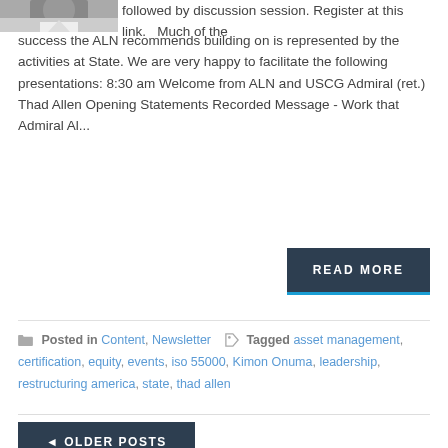[Figure (photo): Partial photo of a person in a suit, top-left corner]
followed by discussion session. Register at this link.  Much of the success the ALN recommends building on is represented by the activities at State. We are very happy to facilitate the following presentations: 8:30 am Welcome from ALN and USCG Admiral (ret.) Thad Allen Opening Statements Recorded Message - Work that Admiral Al...
READ MORE
Posted in Content, Newsletter  Tagged asset management, certification, equity, events, iso 55000, Kimon Onuma, leadership, restructuring america, state, thad allen
◄ OLDER POSTS